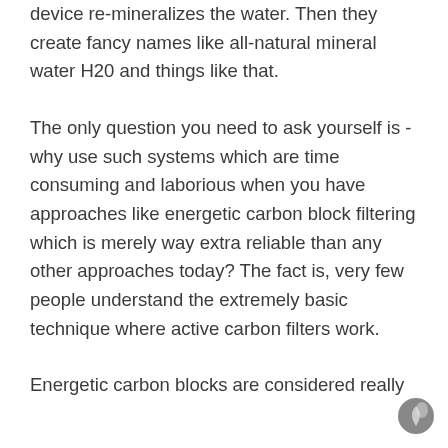device re-mineralizes the water. Then they create fancy names like all-natural mineral water H20 and things like that.
The only question you need to ask yourself is - why use such systems which are time consuming and laborious when you have approaches like energetic carbon block filtering which is merely way extra reliable than any other approaches today? The fact is, very few people understand the extremely basic technique where active carbon filters work.
Energetic carbon blocks are considered really